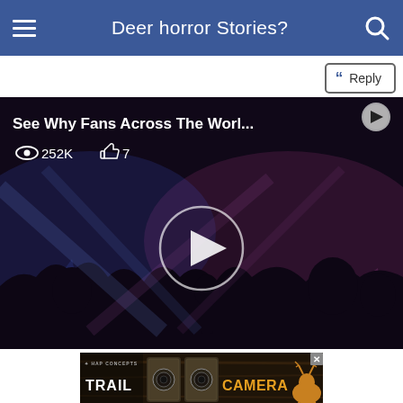Deer horror Stories?
Reply
[Figure (screenshot): Video thumbnail showing a concert scene with blue and purple stage lighting, silhouettes of crowd, play button overlay. Title: 'See Why Fans Across The Worl...' with 252K views and 7 likes.]
[Figure (photo): Advertisement banner for Trail Camera by HAP Concepts showing trail camera product images.]